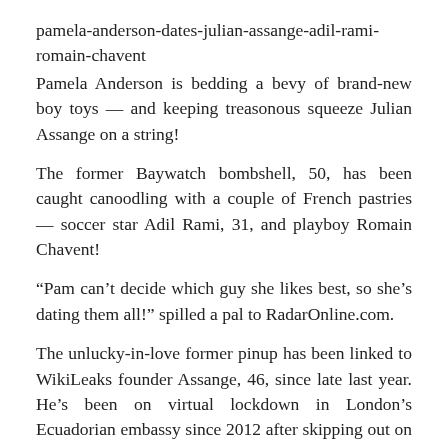pamela-anderson-dates-julian-assange-adil-rami-romain-chavent
Pamela Anderson is bedding a bevy of brand-new boy toys — and keeping treasonous squeeze Julian Assange on a string!
The former Baywatch bombshell, 50, has been caught canoodling with a couple of French pastries — soccer star Adil Rami, 31, and playboy Romain Chavent!
“Pam can’t decide which guy she likes best, so she’s dating them all!” spilled a pal to RadarOnline.com.
The unlucky-in-love former pinup has been linked to WikiLeaks founder Assange, 46, since late last year. He’s been on virtual lockdown in London’s Ecuadorian embassy since 2012 after skipping out on sexual assault charges in Sweden.